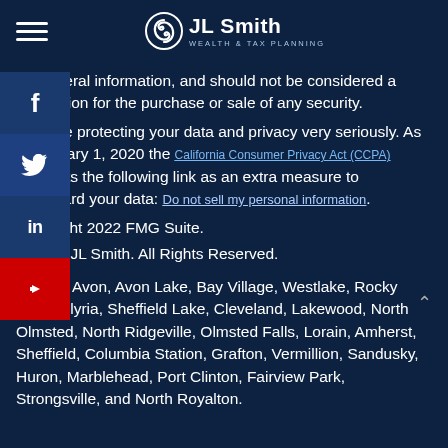JL Smith Wealth & Tax Planning
for general information, and should not be considered a solicitation for the purchase or sale of any security.
We take protecting your data and privacy very seriously. As of January 1, 2020 the California Consumer Privacy Act (CCPA) suggests the following link as an extra measure to safeguard your data: Do not sell my personal information.
Copyright 2022 FMG Suite.
© 2022 JL Smith. All Rights Reserved.
Serving Avon, Avon Lake, Bay Village, Westlake, Rocky River, Elyria, Sheffield Lake, Cleveland, Lakewood, North Olmsted, North Ridgeville, Olmsted Falls, Lorain, Amherst, Sheffield, Columbia Station, Grafton, Vermillion, Sandusky, Huron, Marblehead, Port Clinton, Fairview Park, Strongsville, and North Royalton.